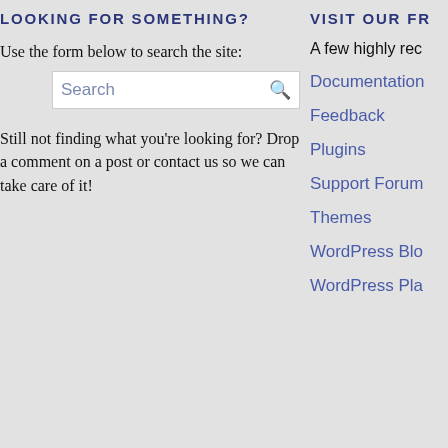LOOKING FOR SOMETHING?
VISIT OUR FR…
Use the form below to search the site:
A few highly rec…
Documentation
Feedback
Plugins
Support Forum…
Themes
WordPress Blo…
WordPress Pla…
Still not finding what you're looking for? Drop a comment on a post or contact us so we can take care of it!